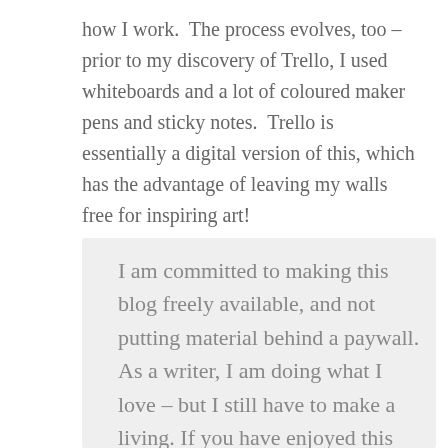how I work.  The process evolves, too – prior to my discovery of Trello, I used whiteboards and a lot of coloured maker pens and sticky notes.  Trello is essentially a digital version of this, which has the advantage of leaving my walls free for inspiring art!
I am committed to making this blog freely available, and not putting material behind a paywall. As a writer, I am doing what I love – but I still have to make a living. If you have enjoyed this post, and if you are able to do so, perhaps you would consider supporting my